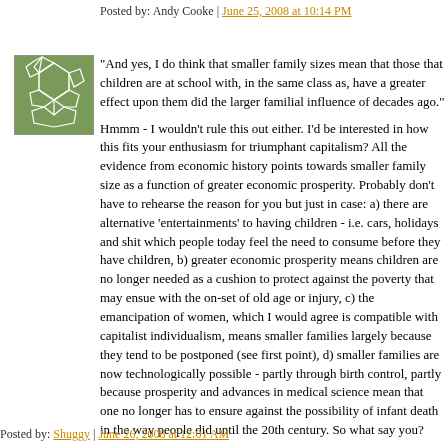Posted by: Andy Cooke | June 25, 2008 at 10:14 PM
[Figure (illustration): Green avatar icon with a geometric pattern resembling a soccer ball or mosaic, in a square frame with a thin border]
"And yes, I do think that smaller family sizes mean that those that children are at school with, in the same class as, have a greater effect upon them did the larger familial influence of decades ago." Hmmm - I wouldn't rule this out either. I'd be interested in how this fits your enthusiasm for triumphant capitalism? All the evidence from economic history points towards smaller family size as a function of greater economic prosperity. Probably don't have to rehearse the reason for you but just in case: a) there are alternative 'entertainments' to having children - i.e. cars, holidays and shit which people today feel the need to consume before they have children, b) greater economic prosperity means children are no longer needed as a cushion to protect against the poverty that may ensue with the on-set of old age or injury, c) the emancipation of women, which I would agree is compatible with capitalist individualism, means smaller families largely because they tend to be postponed (see first point), d) smaller families are now technologically possible - partly through birth control, partly because prosperity and advances in medical science mean that one no longer has to ensure against the possibility of infant death in the way people did until the 20th century. So what say you?
Posted by: Shuggy | June 26, 2008 at 12:01 AM